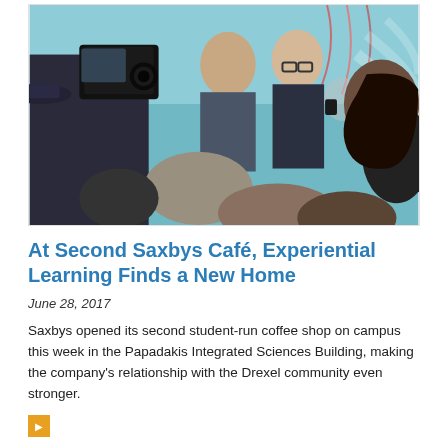[Figure (photo): Indoor event scene with a film crew holding a professional camera on the left filming a man in a suit holding a coffee cup, surrounded by an audience of people in a room with teal walls and colorful balloon mural decoration.]
At Second Saxbys Café, Experiential Learning Finds a New Home
June 28, 2017
Saxbys opened its second student-run coffee shop on campus this week in the Papadakis Integrated Sciences Building, making the company's relationship with the Drexel community even stronger.